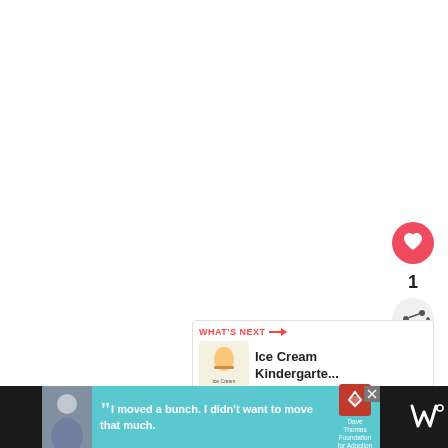[Figure (illustration): White blank content area taking up most of the page]
[Figure (infographic): Red circular heart/like button]
1
[Figure (infographic): White circular share button with share icon]
[Figure (infographic): What's Next card with Ice Cream Kindergarte... thumbnail and title]
[Figure (infographic): Advertisement banner: Dave Thomas Foundation for Adoption. Quote: I moved a bunch. I didn't want to move that much.]